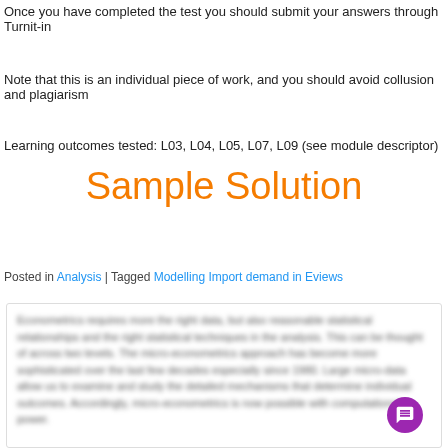Once you have completed the test you should submit your answers through Turnit-in
Note that this is an individual piece of work, and you should avoid collusion and plagiarism
Learning outcomes tested: L03, L04, L05, L07, L09 (see module descriptor)
Sample Solution
Posted in Analysis | Tagged Modelling Import demand in Eviews
[Figure (screenshot): Blurred text content of the sample solution document]